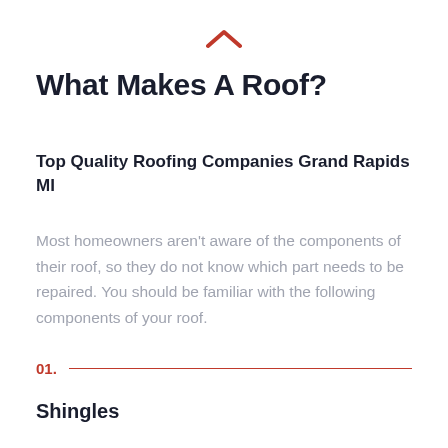[Figure (illustration): Red upward caret/chevron icon centered at the top of the page]
What Makes A Roof?
Top Quality Roofing Companies Grand Rapids MI
Most homeowners aren't aware of the components of their roof, so they do not know which part needs to be repaired. You should be familiar with the following components of your roof.
01.
Shingles